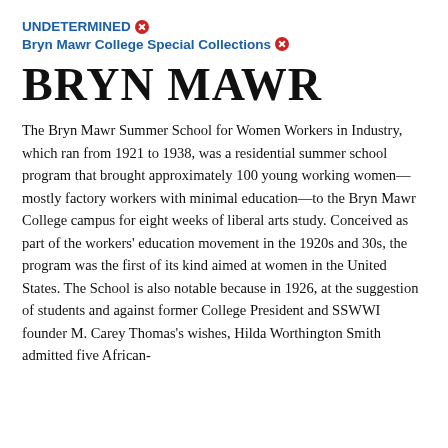UNDETERMINED ✕   Bryn Mawr College Special Collections ✕
BRYN MAWR
The Bryn Mawr Summer School for Women Workers in Industry, which ran from 1921 to 1938, was a residential summer school program that brought approximately 100 young working women—mostly factory workers with minimal education—to the Bryn Mawr College campus for eight weeks of liberal arts study. Conceived as part of the workers' education movement in the 1920s and 30s, the program was the first of its kind aimed at women in the United States. The School is also notable because in 1926, at the suggestion of students and against former College President and SSWWI founder M. Carey Thomas's wishes, Hilda Worthington Smith admitted five African-